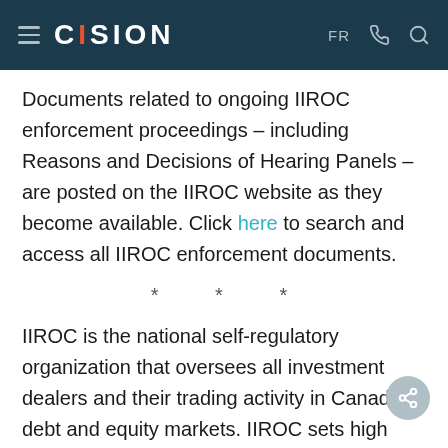CISION  FR
Documents related to ongoing IIROC enforcement proceedings – including Reasons and Decisions of Hearing Panels – are posted on the IIROC website as they become available. Click here to search and access all IIROC enforcement documents.
* * *
IIROC is the national self-regulatory organization that oversees all investment dealers and their trading activity in Canada's debt and equity markets. IIROC sets high quality regulatory and investment industry standards, protects investors and strengthens market